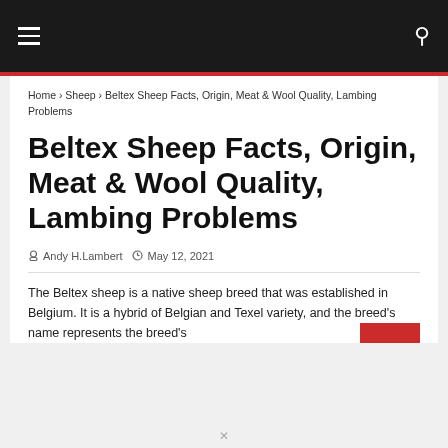☰ [navigation] 🔍
Home › Sheep › Beltex Sheep Facts, Origin, Meat & Wool Quality, Lambing Problems
Beltex Sheep Facts, Origin, Meat & Wool Quality, Lambing Problems
Andy H.Lambert  May 12, 2021
The Beltex sheep is a native sheep breed that was established in Belgium. It is a hybrid of Belgian and Texel variety, and the breed's name represents the breed's